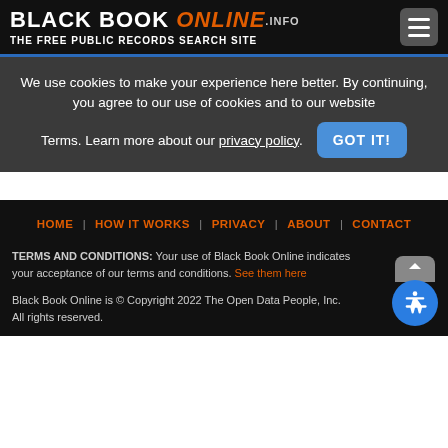BLACK BOOK ONLINE.INFO — THE FREE PUBLIC RECORDS SEARCH SITE
We use cookies to make your experience here better. By continuing, you agree to our use of cookies and to our website Terms. Learn more about our privacy policy.
GOT IT!
HOME | HOW IT WORKS | PRIVACY | ABOUT | CONTACT
TERMS AND CONDITIONS: Your use of Black Book Online indicates your acceptance of our terms and conditions. See them here
Black Book Online is © Copyright 2022 The Open Data People, Inc. All rights reserved.